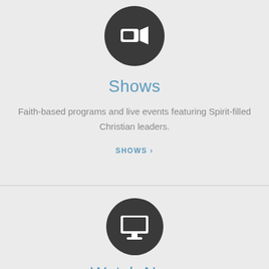[Figure (illustration): Dark circle icon with a video camera symbol (white) representing Shows section]
Shows
Faith-based programs and live events featuring Spirit-filled Christian leaders.
SHOWS ›
[Figure (illustration): Dark circle icon with a desktop monitor symbol (white) representing Watch Now section]
Watch Now